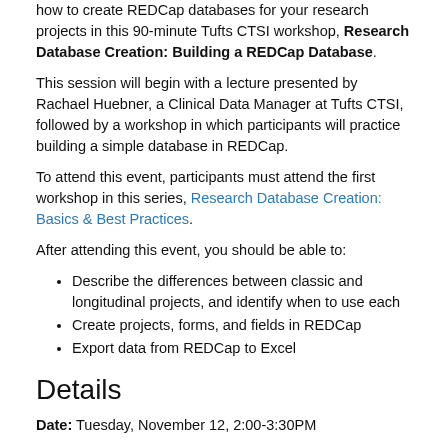how to create REDCap databases for your research projects in this 90-minute Tufts CTSI workshop, Research Database Creation: Building a REDCap Database.
This session will begin with a lecture presented by Rachael Huebner, a Clinical Data Manager at Tufts CTSI, followed by a workshop in which participants will practice building a simple database in REDCap.
To attend this event, participants must attend the first workshop in this series, Research Database Creation: Basics & Best Practices.
After attending this event, you should be able to:
Describe the differences between classic and longitudinal projects, and identify when to use each
Create projects, forms, and fields in REDCap
Export data from REDCap to Excel
Details
Date: Tuesday, November 12, 2:00-3:30PM
Location: Tufts Medical Center, IS Training Room, Ziskind Building, 1st Floor, Room 116A